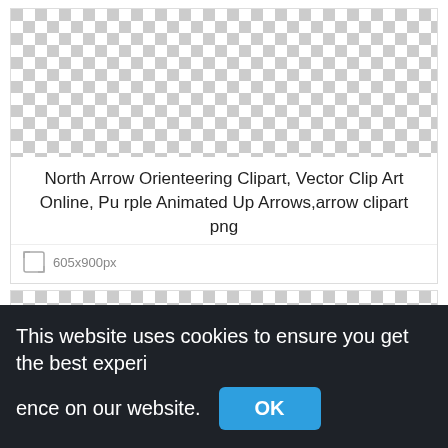[Figure (illustration): Checkered transparency pattern background (top card)]
North Arrow Orienteering Clipart, Vector Clip Art Online, Purple Animated Up Arrows,arrow clipart png
605x900px
[Figure (illustration): Checkered transparency pattern background (bottom card)]
This website uses cookies to ensure you get the best experience on our website.